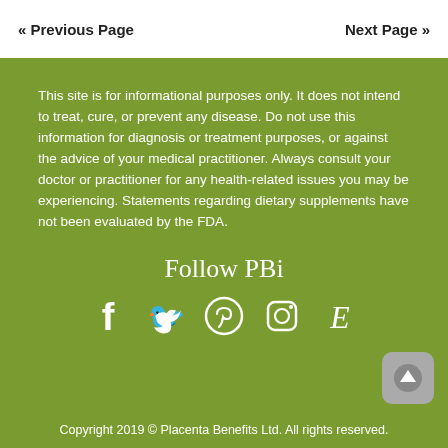« Previous Page    Next Page »
This site is for informational purposes only. It does not intend to treat, cure, or prevent any disease. Do not use this information for diagnosis or treatment purposes, or against the advice of your medical practitioner. Always consult your doctor or practitioner for any health-related issues you may be experiencing. Statements regarding dietary supplements have not been evaluated by the FDA.
Follow PBi
[Figure (infographic): Social media icons: Facebook, Twitter, Pinterest, Instagram, Etsy]
Copyright 2019 © Placenta Benefits Ltd. All rights reserved.